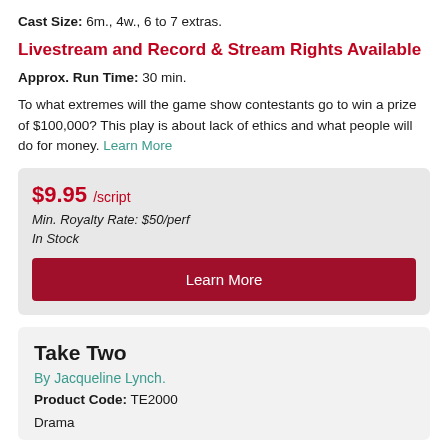Cast Size: 6m., 4w., 6 to 7 extras.
Livestream and Record & Stream Rights Available
Approx. Run Time: 30 min.
To what extremes will the game show contestants go to win a prize of $100,000? This play is about lack of ethics and what people will do for money. Learn More
$9.95 /script
Min. Royalty Rate: $50/perf
In Stock
Learn More
Take Two
By Jacqueline Lynch.
Product Code: TE2000
Drama